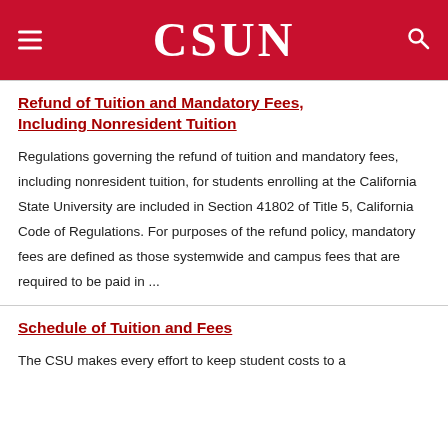CSUN
Refund of Tuition and Mandatory Fees, Including Nonresident Tuition
Regulations governing the refund of tuition and mandatory fees, including nonresident tuition, for students enrolling at the California State University are included in Section 41802 of Title 5, California Code of Regulations. For purposes of the refund policy, mandatory fees are defined as those systemwide and campus fees that are required to be paid in ...
Schedule of Tuition and Fees
The CSU makes every effort to keep student costs to a